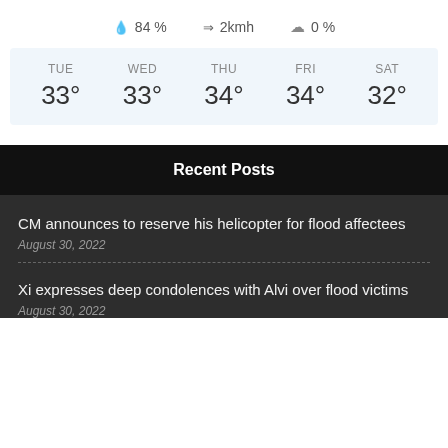💧 84 %   ⇒ 2kmh   ☁ 0 %
| TUE | WED | THU | FRI | SAT |
| --- | --- | --- | --- | --- |
| 33° | 33° | 34° | 34° | 32° |
Recent Posts
CM announces to reserve his helicopter for flood affectees
August 30, 2022
Xi expresses deep condolences with Alvi over flood victims
August 30, 2022